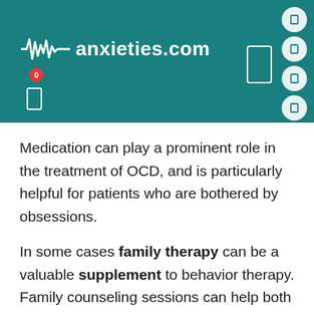[Figure (logo): anxieties.com website header with teal background, waveform logo, site name, search box, and navigation icons]
Medication can play a prominent role in the treatment of OCD, and is particularly helpful for patients who are bothered by obsessions.
In some cases family therapy can be a valuable supplement to behavior therapy. Family counseling sessions can help both the individual with OCD and his family by increasing understanding and establishing